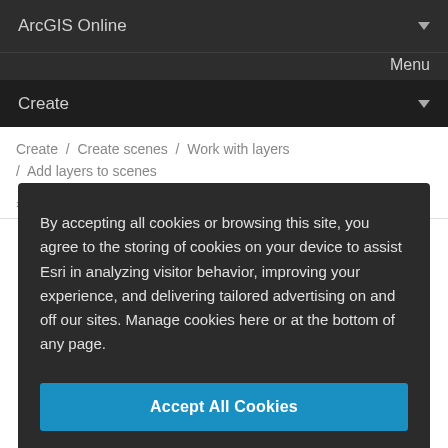ArcGIS Online
Menu
Create
Create / Create scenes / Work with layers / Add layers to scenes
Living Atlas includes selected layers from
By accepting all cookies or browsing this site, you agree to the storing of cookies on your device to assist Esri in analyzing visitor behavior, improving your experience, and delivering tailored advertising on and off our sites. Manage cookies here or at the bottom of any page.
Accept All Cookies
Cookies Settings